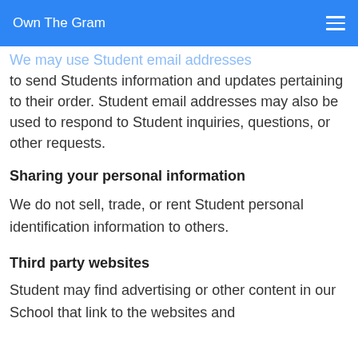Own The Gram
We may use Student email addresses to send Students information and updates pertaining to their order. Student email addresses may also be used to respond to Student inquiries, questions, or other requests.
Sharing your personal information
We do not sell, trade, or rent Student personal identification information to others.
Third party websites
Student may find advertising or other content in our School that link to the websites and